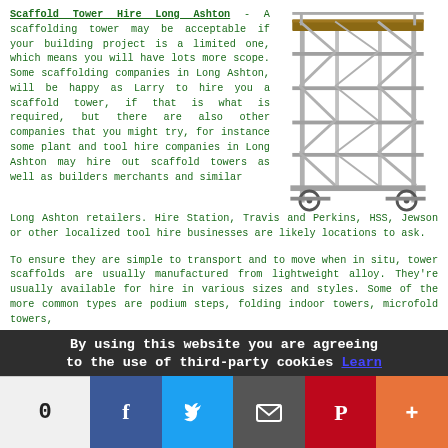Scaffold Tower Hire Long Ashton - A scaffolding tower may be acceptable if your building project is a limited one, which means you will have lots more scope. Some scaffolding companies in Long Ashton, will be happy as Larry to hire you a scaffold tower, if that is what is required, but there are also other companies that you might try, for instance some plant and tool hire companies in Long Ashton may hire out scaffold towers as well as builders merchants and similar Long Ashton retailers. Hire Station, Travis and Perkins, HSS, Jewson or other localized tool hire businesses are likely locations to ask.
[Figure (illustration): A tall aluminium scaffold tower on wheels with multiple platforms and diagonal bracing]
To ensure they are simple to transport and to move when in situ, tower scaffolds are usually manufactured from lightweight alloy. They're usually available for hire in various sizes and styles. Some of the more common types are podium steps, folding indoor towers, microfold towers,
By using this website you are agreeing to the use of third-party cookies Learn